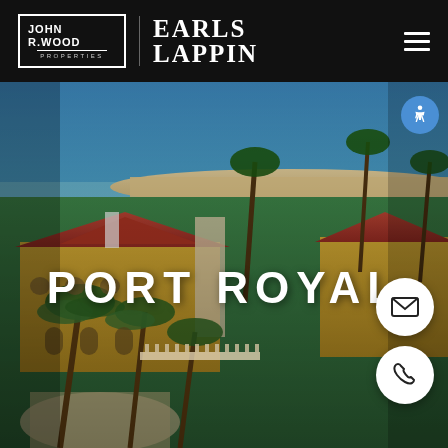[Figure (logo): John R Wood Properties logo — white text in bordered box]
EARLS LAPPIN
[Figure (photo): Aerial view of Port Royal luxury estate with red tile roofs, palm trees, manicured lawn, and Gulf of Mexico beach in background]
PORT ROYAL